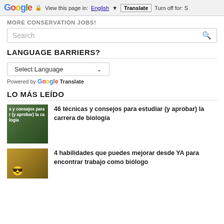[Figure (screenshot): Google Translate browser bar showing: Google logo, lock icon, 'View this page in: English [dropdown] [Translate] Turn off for: S']
MORE CONSERVATION JOBS!
[Figure (screenshot): Search input box with placeholder 'Search' and a search icon on the right]
LANGUAGE BARRIERS?
[Figure (screenshot): Language selector dropdown showing 'Select Language' with a down arrow, and 'Powered by Google Translate' below]
LO MÁS LEÍDO
[Figure (photo): Thumbnail image with text overlay: 's y consejos para r (y aprobar) la ca logía']
46 técnicas y consejos para estudiar (y aprobar) la carrera de biología
[Figure (photo): Thumbnail image of person wearing a yellow hard hat]
4 habilidades que puedes mejorar desde YA para encontrar trabajo como biólogo